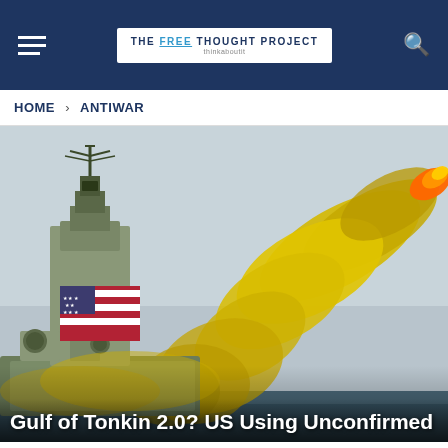THE FREE THOUGHT PROJECT
HOME > ANTIWAR
[Figure (photo): A US Navy warship firing a missile with a large yellow smoke trail, American flag visible on the ship, ocean and overcast sky in background]
Gulf of Tonkin 2.0? US Using Unconfirmed